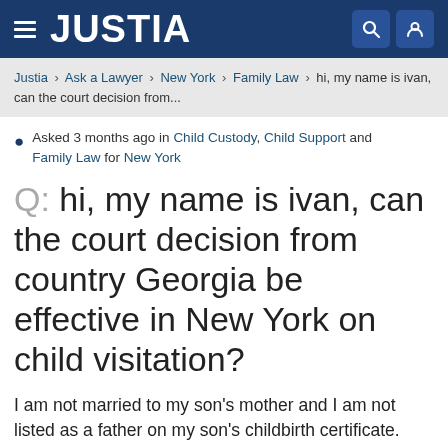JUSTIA
Justia › Ask a Lawyer › New York › Family Law › hi, my name is ivan, can the court decision from...
Asked 3 months ago in Child Custody, Child Support and Family Law for New York
Q: hi, my name is ivan, can the court decision from country Georgia be effective in New York on child visitation?
I am not married to my son's mother and I am not listed as a father on my son's childbirth certificate.
I filed in family court in NYC but she took the child overseas to Georgia Thilisi...